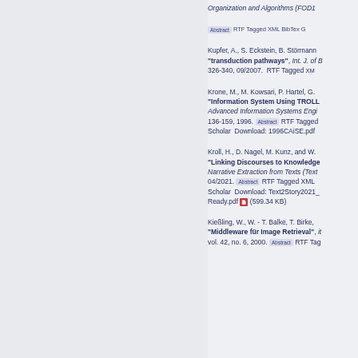Organization and Algorithms (FOD1...
Abstract RTF Tagged XML BibTex G...
Kupfer, A., S. Eckstein, B. Störmann... "transduction pathways", Int. J. of B... 326-340, 09/2007. RTF Tagged XM...
Krone, M., M. Kowsari, P. Hartel, G. ... "Information System Using TROLL..." Advanced Information Systems Engi... 136-159, 1996. Abstract RTF Tagged ... Scholar Download: 1996CAiSE.pdf
Kroll, H., D. Nagel, M. Kunz, and W. ... "Linking Discourses to Knowledge..." Narrative Extraction from Texts (Text... 04/2021. Abstract RTF Tagged XML ... Scholar Download: Text2Story2021_... Ready.pdf (599.34 KB)
Kießling, W., W. - T. Balke, T. Birke, ... "Middleware für Image Retrieval", it... vol. 42, no. 6, 2000. Abstract RTF Tag...